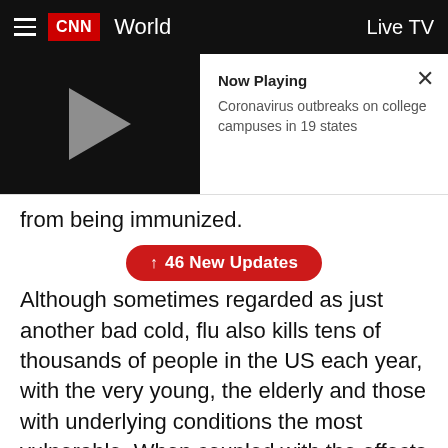CNN World  Live TV
[Figure (screenshot): CNN video player showing 'Now Playing: Coronavirus outbreaks on college campuses in 19 states' with a play button on a black background and a close (X) button]
from being immunized.
Although sometimes regarded as just another bad cold, flu also kills tens of thousands of people in the US each year, with the very young, the elderly and those with underlying conditions the most vulnerable. When coupled with the effects of Covid-19, public health experts say it's more important than ever to get a flu shot.
Getting vaccinated for the flu this year is particularly important, WHO officials say